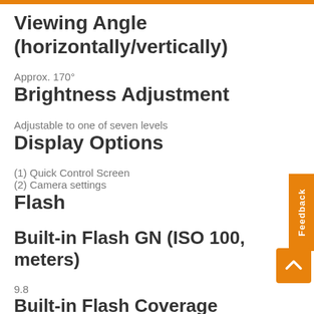Viewing Angle (horizontally/vertically)
Approx. 170°
Brightness Adjustment
Adjustable to one of seven levels
Display Options
(1) Quick Control Screen
(2) Camera settings
Flash
Built-in Flash GN (ISO 100, meters)
9.8
Built-in Flash Coverage
up to 18 mm focal length (35 mm equivalent: approx. 29mm)
Built-in Flash recycle time